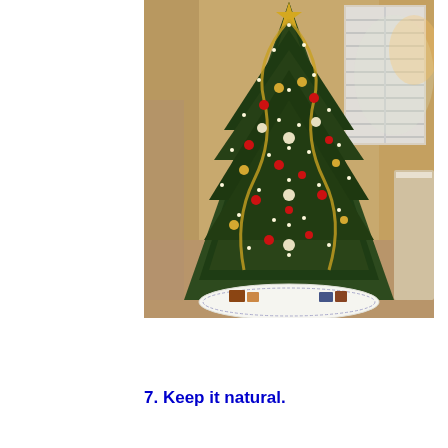[Figure (photo): A decorated Christmas tree with lights, ornaments in gold, red, and white, gold ribbons, and a white tree skirt at the base with small figurines underneath. The tree is in a room with plantation shutters on a window, warm ambient lighting, and furniture visible to the right.]
7. Keep it natural.